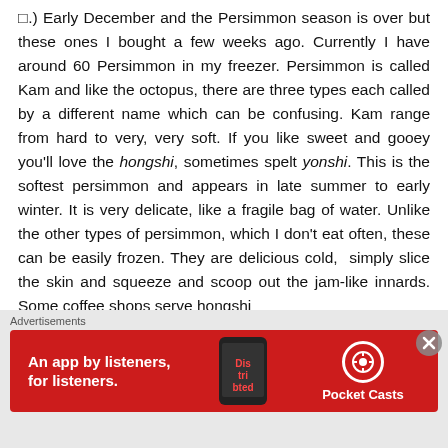□.) Early December and the Persimmon season is over but these ones I bought a few weeks ago. Currently I have around 60 Persimmon in my freezer. Persimmon is called Kam and like the octopus, there are three types each called by a different name which can be confusing. Kam range from hard to very, very soft. If you like sweet and gooey you'll love the hongshi, sometimes spelt yonshi. This is the softest persimmon and appears in late summer to early winter. It is very delicate, like a fragile bag of water. Unlike the other types of persimmon, which I don't eat often, these can be easily frozen. They are delicious cold, simply slice the skin and squeeze and scoop out the jam-like innards. Some coffee shops serve hongsh...
[Figure (other): Advertisement banner for Pocket Casts app — red background with phone image, text 'An app by listeners, for listeners.' and Pocket Casts logo]